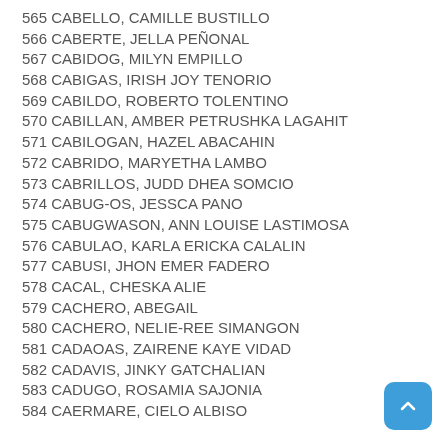565 CABELLO, CAMILLE BUSTILLO
566 CABERTE, JELLA PEÑONAL
567 CABIDOG, MILYN EMPILLO
568 CABIGAS, IRISH JOY TENORIO
569 CABILDO, ROBERTO TOLENTINO
570 CABILLAN, AMBER PETRUSHKA LAGAHIT
571 CABILOGAN, HAZEL  ABACAHIN
572 CABRIDO, MARYETHA LAMBO
573 CABRILLOS, JUDD DHEA SOMCIO
574 CABUG-OS, JESSCA PANO
575 CABUGWASON, ANN LOUISE LASTIMOSA
576 CABULAO, KARLA ERICKA CALALIN
577 CABUSI, JHON EMER FADERO
578 CACAL, CHESKA ALIE
579 CACHERO, ABEGAIL
580 CACHERO, NELIE-REE SIMANGON
581 CADAOAS, ZAIRENE KAYE VIDAD
582 CADAVIS, JINKY GATCHALIAN
583 CADUGO, ROSAMIA SAJONIA
584 CAERMARE, CIELO ALBISO